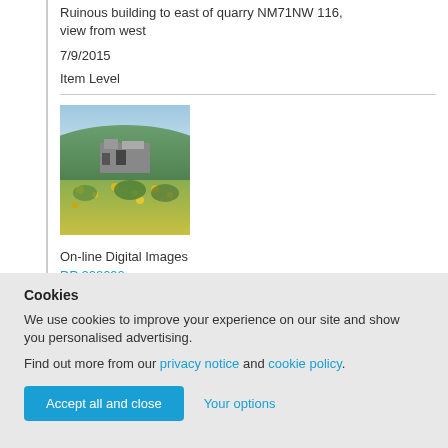Ruinous building to east of quarry NM71NW 116, view from west
7/9/2015
Item Level
[Figure (photo): Thumbnail photograph of ruinous stone building surrounded by green vegetation and yellow wildflowers on a hillside, viewed from the west.]
On-line Digital Images
DP 228090
Ruinous building to east of quarry NM71NW 116, view from south
Cookies
We use cookies to improve your experience on our site and show you personalised advertising.
Find out more from our privacy notice and cookie policy.
Accept all and close
Your options